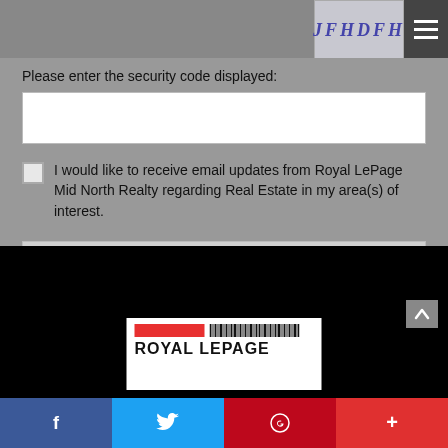[Figure (screenshot): CAPTCHA image showing text 'JFHDFH' in blue italic font on a light background]
[Figure (other): Hamburger menu icon (three horizontal white lines on dark background)]
Please enter the security code displayed:
I would like to receive email updates from  Royal LePage Mid North Realty  regarding Real Estate in my area(s) of interest.
Contact Us
[Figure (logo): Royal LePage logo with red bar, barcode lines, and bold text reading ROYAL LEPAGE]
[Figure (other): Social media share bar with Facebook, Twitter, Pinterest, and plus buttons]